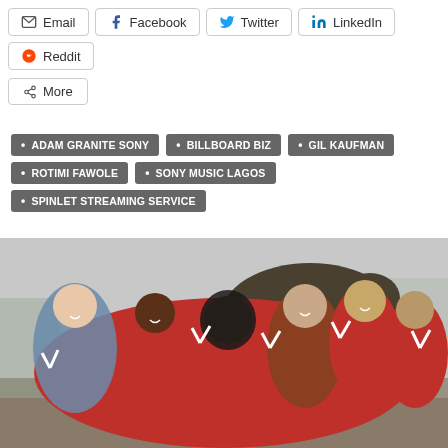Email | Facebook | Twitter | LinkedIn | Reddit
More
ADAM GRANITE SONY
BILLBOARD BIZ
GIL KAUFMAN
ROTIMI FAWOLE
SONY MUSIC LAGOS
SPINLET STREAMING SERVICE
[Figure (photo): Group of University of Houston students in red shirts posing in front of a Cougar statue, making peace signs with their hands.]